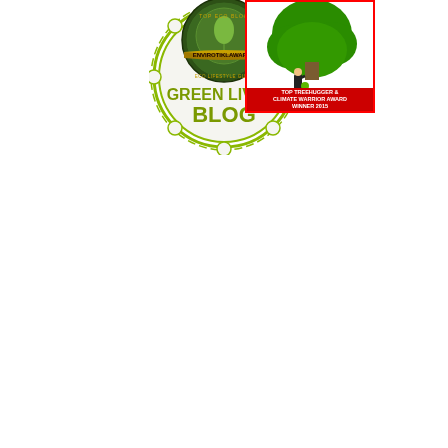[Figure (logo): Gold and blue badge from rankedblogs.com showing 'LIVING BLOG' text at top]
[Figure (logo): Round green badge reading 'VOTED TOP GREEN LIVING BLOG']
[Figure (logo): Dark green circular badge with gold banner, appears to be an environmental/sustainability award badge]
[Figure (logo): Red-bordered image showing a person hugging a tree with green canopy, text reads 'TOP TREEHUGGER & CLIMATE WARRIOR AWARD WINNER 2015']